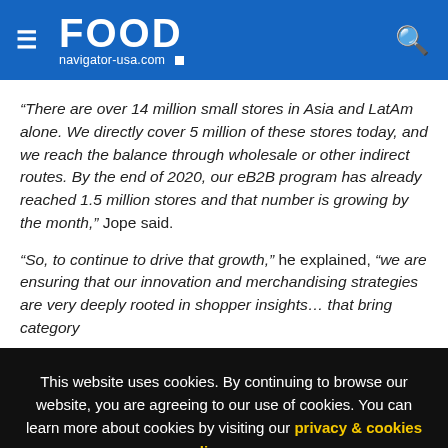FOOD navigator-usa.com
“There are over 14 million small stores in Asia and LatAm alone. We directly cover 5 million of these stores today, and we reach the balance through wholesale or other indirect routes. By the end of 2020, our eB2B program has already reached 1.5 million stores and that number is growing by the month,” Jope said.
“So, to continue to drive that growth,” he explained, “we are ensuring that our innovation and merchandising strategies are very deeply rooted in shopper insights… that bring category
This website uses cookies. By continuing to browse our website, you are agreeing to our use of cookies. You can learn more about cookies by visiting our privacy & cookies policy page.
I Agree